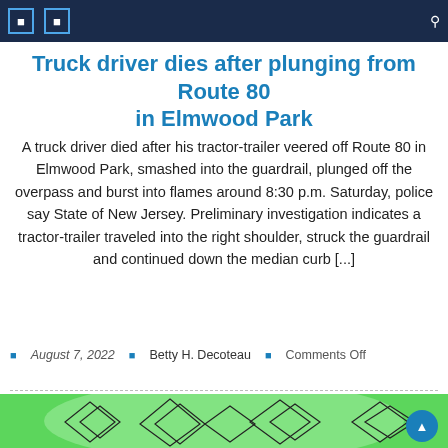Navigation header with icons and search
Truck driver dies after plunging from Route 80 in Elmwood Park
A truck driver died after his tractor-trailer veered off Route 80 in Elmwood Park, smashed into the guardrail, plunged off the overpass and burst into flames around 8:30 p.m. Saturday, police say State of New Jersey. Preliminary investigation indicates a tractor-trailer traveled into the right shoulder, struck the guardrail and continued down the median curb [...]
August 7, 2022   Betty H. Decoteau   Comments Off
[Figure (illustration): Green background illustration with scattered diamond/geometric shapes in outline style]